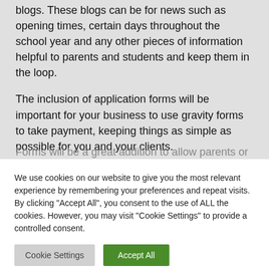blogs. These blogs can be for news such as opening times, certain days throughout the school year and any other pieces of information helpful to parents and students and keep them in the loop.
The inclusion of application forms will be important for your business to use gravity forms to take payment, keeping things as simple as possible for you and your clients.
Forms will be a great addition to allow parents or...
We use cookies on our website to give you the most relevant experience by remembering your preferences and repeat visits. By clicking "Accept All", you consent to the use of ALL the cookies. However, you may visit "Cookie Settings" to provide a controlled consent.